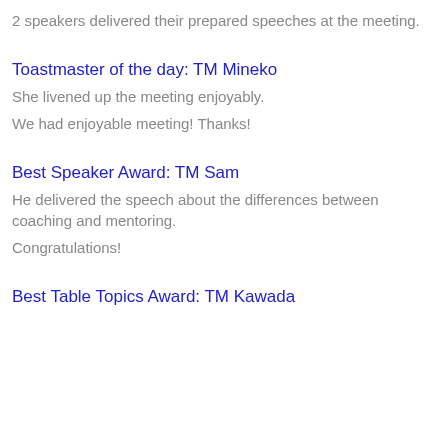2 speakers delivered their prepared speeches at the meeting.
Toastmaster of the day: TM Mineko
She livened up the meeting enjoyably.
We had enjoyable meeting!  Thanks!
Best Speaker Award: TM Sam
He delivered the speech about the differences between coaching and mentoring.
Congratulations!
Best Table Topics Award: TM Kawada